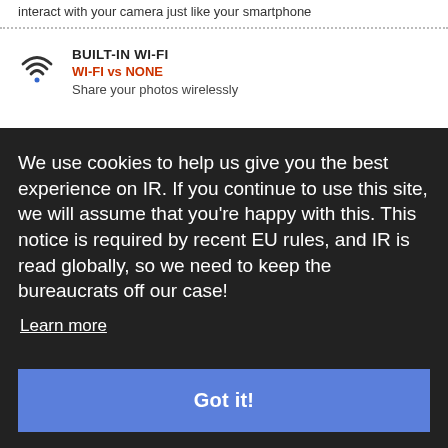interact with your camera just like your smartphone
BUILT-IN WI-FI
WI-FI vs NONE
Share your photos wirelessly
NFC
We use cookies to help us give you the best experience on IR. If you continue to use this site, we will assume that you're happy with this. This notice is required by recent EU rules, and IR is read globally, so we need to keep the bureaucrats off our case!
Learn more
Got it!